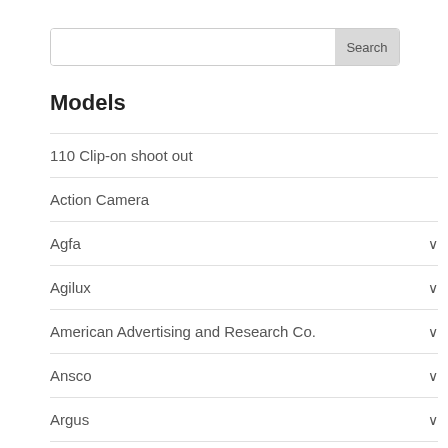[Figure (screenshot): Search bar with text input and Search button]
Models
110 Clip-on shoot out
Action Camera
Agfa
Agilux
American Advertising and Research Co.
Ansco
Argus
Barbie Cameras